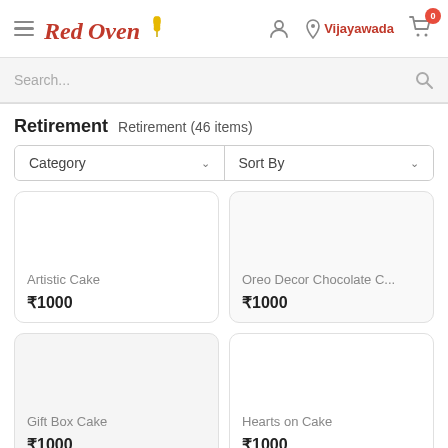Red Oven — Vijayawada, Cart: 0
Search...
Retirement
Retirement (46 items)
Category ∨   Sort By ∨
Artistic Cake
₹1000
Oreo Decor Chocolate C...
₹1000
Gift Box Cake
₹1000
Hearts on Cake
₹1000